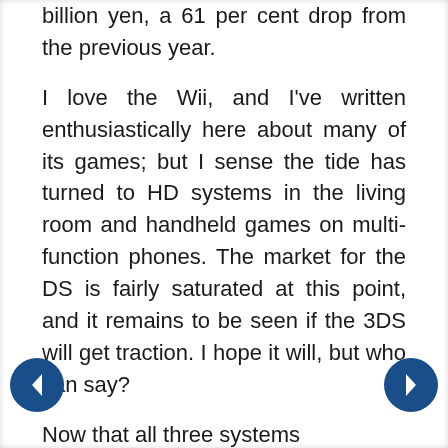billion yen, a 61 per cent drop from the previous year.

I love the Wii, and I've written enthusiastically here about many of its games; but I sense the tide has turned to HD systems in the living room and handheld games on multi-function phones. The market for the DS is fairly saturated at this point, and it remains to be seen if the 3DS will get traction. I hope it will, but who can say?

Now that all three systems